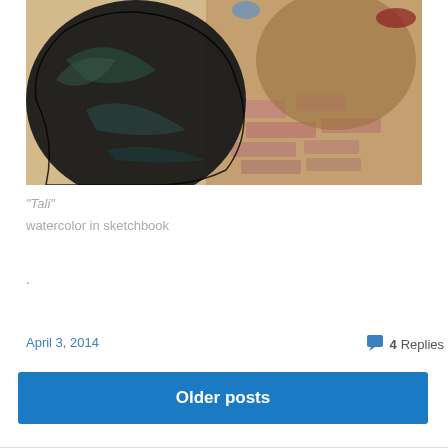[Figure (illustration): Watercolor painting of a dark figure (black and dark teal brushstrokes on the left) against an abstract reddish-brown and pink background with loose brushstrokes]
“Tali”
watercolor in sketchbook
.
April 3, 2014
4 Replies
Older posts